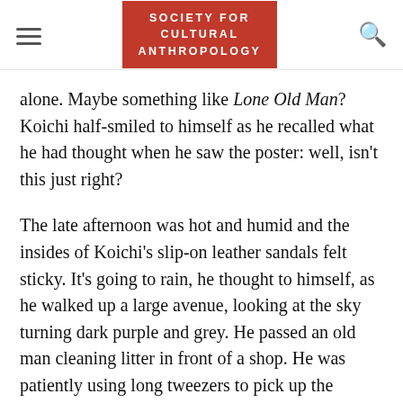SOCIETY FOR CULTURAL ANTHROPOLOGY
alone. Maybe something like Lone Old Man? Koichi half-smiled to himself as he recalled what he had thought when he saw the poster: well, isn't this just right?
The late afternoon was hot and humid and the insides of Koichi's slip-on leather sandals felt sticky. It's going to rain, he thought to himself, as he walked up a large avenue, looking at the sky turning dark purple and grey. He passed an old man cleaning litter in front of a shop. He was patiently using long tweezers to pick up the cigarette butts stuck in the metal storm drain grid. A recorded high-pitched voice